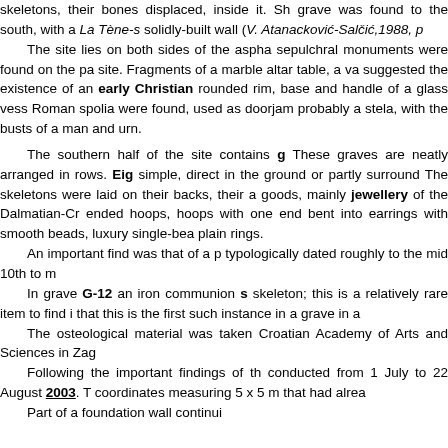skeletons, their bones displaced, inside it. Sh grave was found to the south, with a La Tène-s solidly-built wall (V. Atanacković-Salčić,1988, p The site lies on both sides of the aspha sepulchral monuments were found on the pa site. Fragments of a marble altar table, a va suggested the existence of an early Christian rounded rim, base and handle of a glass vess Roman spolia were found, used as doorjam probably a stela, with the busts of a man and urn. The southern half of the site contains g These graves are neatly arranged in rows. Eig simple, direct in the ground or partly surround The skeletons were laid on their backs, their a goods, mainly jewellery of the Dalmatian-Cr ended hoops, hoops with one end bent into earrings with smooth beads, luxury single-bea plain rings. An important find was that of a p typologically dated roughly to the mid 10th to m In grave G-12 an iron communion s skeleton; this is a relatively rare item to find i that this is the first such instance in a grave in a The osteological material was taken Croatian Academy of Arts and Sciences in Zag Following the important findings of th conducted from 1 July to 22 August 2003. T coordinates measuring 5 x 5 m that had alrea Part of a foundation wall continui